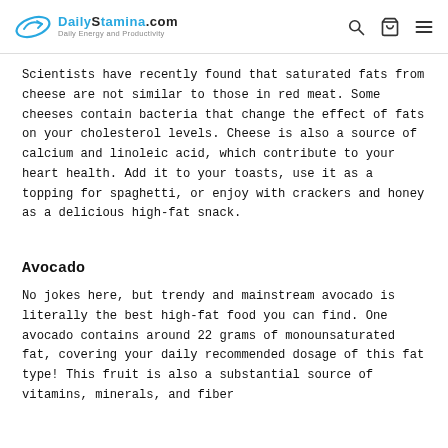DailyStamina.com – Daily Energy and Productivity
Scientists have recently found that saturated fats from cheese are not similar to those in red meat. Some cheeses contain bacteria that change the effect of fats on your cholesterol levels. Cheese is also a source of calcium and linoleic acid, which contribute to your heart health. Add it to your toasts, use it as a topping for spaghetti, or enjoy with crackers and honey as a delicious high-fat snack.
Avocado
No jokes here, but trendy and mainstream avocado is literally the best high-fat food you can find. One avocado contains around 22 grams of monounsaturated fat, covering your daily recommended dosage of this fat type! This fruit is also a substantial source of vitamins, minerals, and fiber